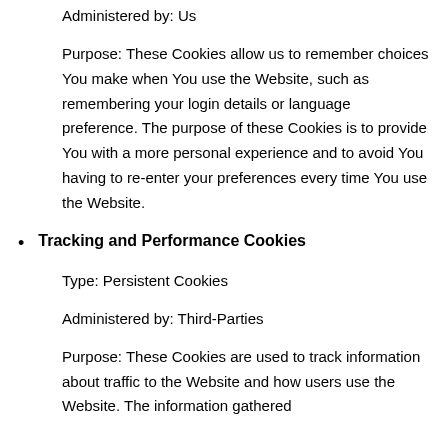Administered by: Us
Purpose: These Cookies allow us to remember choices You make when You use the Website, such as remembering your login details or language preference. The purpose of these Cookies is to provide You with a more personal experience and to avoid You having to re-enter your preferences every time You use the Website.
Tracking and Performance Cookies
Type: Persistent Cookies
Administered by: Third-Parties
Purpose: These Cookies are used to track information about traffic to the Website and how users use the Website. The information gathered